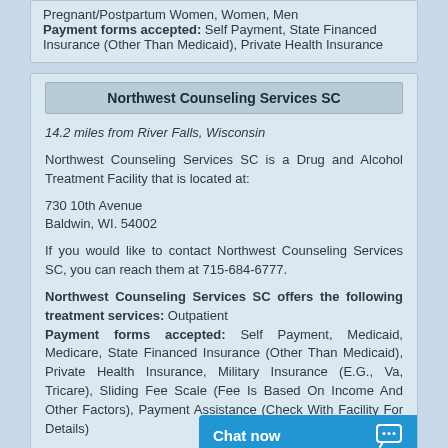Pregnant/Postpartum Women, Women, Men Payment forms accepted: Self Payment, State Financed Insurance (Other Than Medicaid), Private Health Insurance
Northwest Counseling Services SC
14.2 miles from River Falls, Wisconsin
Northwest Counseling Services SC is a Drug and Alcohol Treatment Facility that is located at:
730 10th Avenue
Baldwin, WI. 54002
If you would like to contact Northwest Counseling Services SC, you can reach them at 715-684-6777.
Northwest Counseling Services SC offers the following treatment services: Outpatient Payment forms accepted: Self Payment, Medicaid, Medicare, State Financed Insurance (Other Than Medicaid), Private Health Insurance, Military Insurance (E.G., Va, Tricare), Sliding Fee Scale (Fee Is Based On Income And Other Factors), Payment Assistance (Check With Facility For Details)